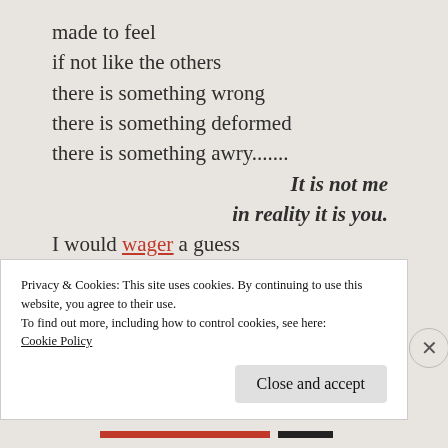made to feel
if not like the others
there is something wrong
there is something deformed
there is something awry.......
It is not me
in reality it is you.
I would wager a guess
you have no idea.....
wilful ignorance
may seem best
Privacy & Cookies: This site uses cookies. By continuing to use this website, you agree to their use.
To find out more, including how to control cookies, see here:
Cookie Policy